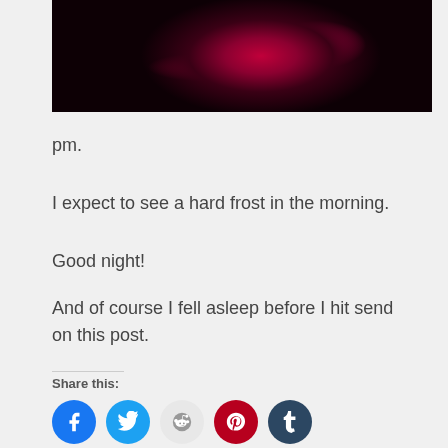[Figure (photo): Dark image with glowing pink/red nebula-like light streaks against a black background]
pm.
I expect to see a hard frost in the morning.
Good night!
And of course I fell asleep before I hit send on this post.
Share this: